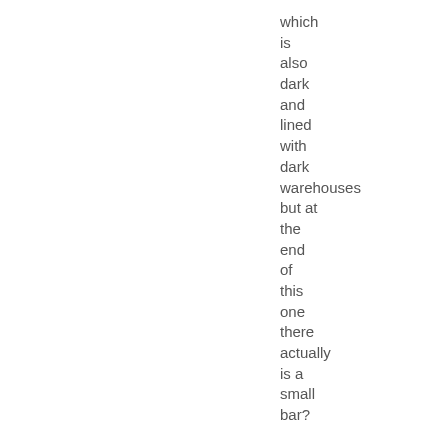which
is
also
dark
and
lined
with
dark
warehouses
but at
the
end
of
this
one
there
actually
is a
small
bar?

So
you
go in
and